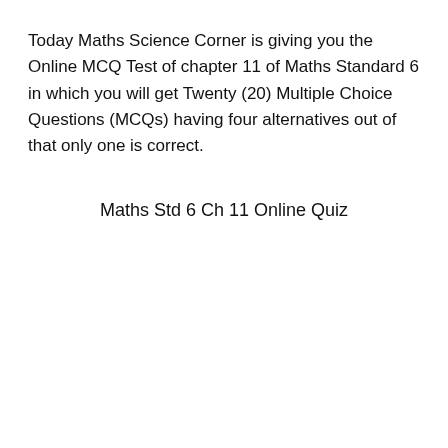Today Maths Science Corner is giving you the Online MCQ Test of chapter 11 of Maths Standard 6 in which you will get Twenty (20) Multiple Choice Questions (MCQs) having four alternatives out of that only one is correct.
Maths Std 6 Ch 11 Online Quiz